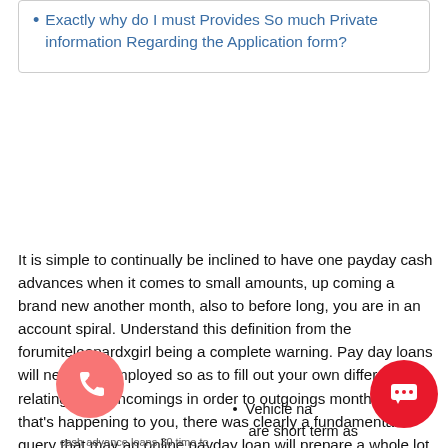Exactly why do I must Provides So much Private information Regarding the Application form?
It is simple to continually be inclined to have one payday cash advances when it comes to small amounts, up coming a brand new another month, also to before long, you are in an account spiral. Understand this definition from the forumiteleopardxgirl being a complete warning. Pay day loans will never be employed so as to fill out your own difference relating to the incomings in order to outgoings monthly. If that's happening to you, there was clearly a fundamental query that may an online payday loan will prepare a whole lot worse just not better.
[Figure (other): Phone call button (red circle with phone icon) and chat button (red circle with chat icon) overlaid on page bottom]
Vehicle na... are short term as
cash advance loans 30 time to